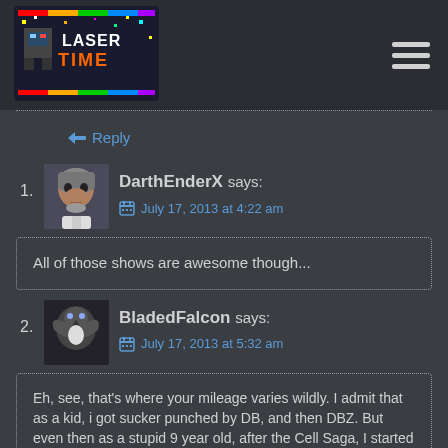[Figure (logo): Laser Time podcast logo - colorful pixel art style logo with text LASER TIME]
↩ Reply
1. DarthEnderX says: July 17, 2013 at 4:22 am — All of those shows are awesome though...
2. BladedFalcon says: July 17, 2013 at 5:32 am — Eh, see, that's where your mileage varies wildly. I admit that as a kid, i got sucker punched by DB, and then DBZ. But even then as a stupid 9 year old, after the Cell Saga, I started to realize the show was kinda just more of the same and kinda stupid, and by the time the Boo Saga had hit, i had moved on.